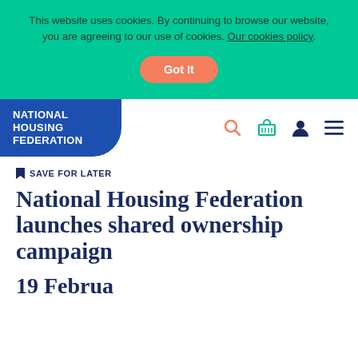This website uses cookies. By continuing to browse our website, you are agreeing to our use of cookies. Our cookies policy.
Got It
[Figure (logo): National Housing Federation logo — white text on blue rounded rectangle]
[Figure (other): Navigation icons: search (magnifying glass), basket/cart, user/person, hamburger menu]
SAVE FOR LATER
National Housing Federation launches shared ownership campaign
19 February 2020